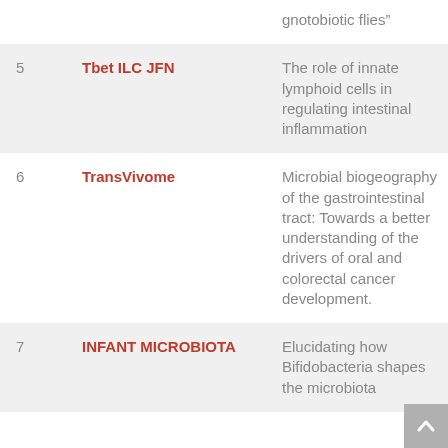| # | Name | Description |
| --- | --- | --- |
|  |  | gnotobiotic flies” |
| 5 | Tbet ILC JFN | The role of innate lymphoid cells in regulating intestinal inflammation |
| 6 | TransVivome | Microbial biogeography of the gastrointestinal tract: Towards a better understanding of the drivers of oral and colorectal cancer development. |
| 7 | INFANT MICROBIOTA | Elucidating how Bifidobacteria shapes the microbiota |